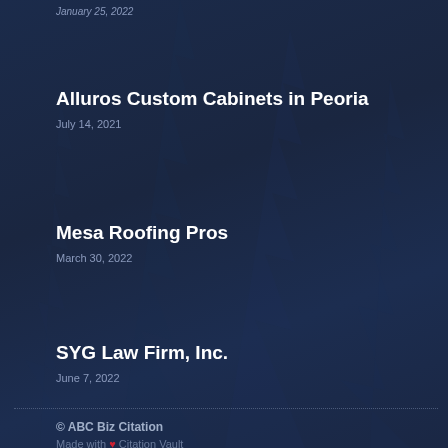January 25, 2022
Alluros Custom Cabinets in Peoria
July 14, 2021
Mesa Roofing Pros
March 30, 2022
SYG Law Firm, Inc.
June 7, 2022
© ABC Biz Citation
Made with ❤ Citation Vault